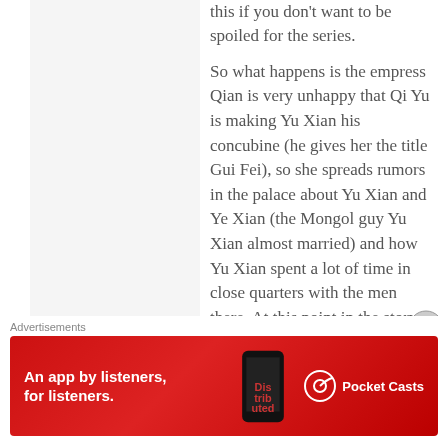this if you don't want to be spoiled for the series.
So what happens is the empress Qian is very unhappy that Qi Yu is making Yu Xian his concubine (he gives her the title Gui Fei), so she spreads rumors in the palace about Yu Xian and Ye Xian (the Mongol guy Yu Xian almost married) and how Yu Xian spent a lot of time in close quarters with the men there. At this point in the story, Yu Xian is mad at Qi Yu for not believing her that the empress Qian is trying to hurt her. She's also still sick and weakly. Qi
Advertisements
[Figure (infographic): Red advertisement banner for Pocket Casts app with text 'An app by listeners, for listeners.' and Pocket Casts logo on the right.]